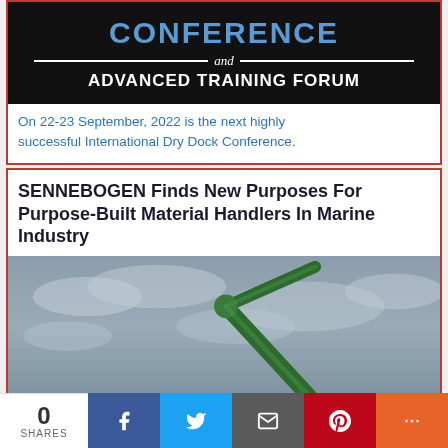[Figure (logo): Conference banner with 'CONFERENCE and ADVANCED TRAINING FORUM' text on black background]
On 22-23 September, 2022 is the next highly successful International Dry Dock Conference.
SENNEBOGEN Finds New Purposes For Purpose-Built Material Handlers In Marine Industry
[Figure (photo): Green material handler crane arm against overcast sky, with dock/port equipment visible at bottom]
0 SHARES | Facebook | Twitter | Email | Pinterest | More